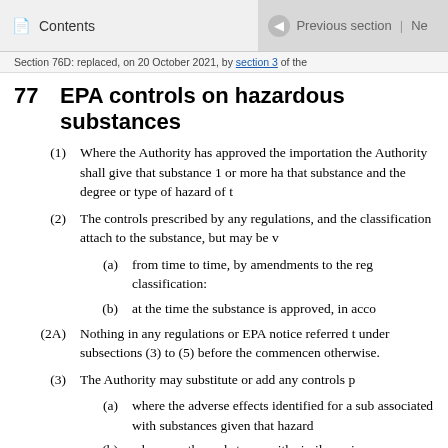Contents | Previous section | Ne
Section 76D: replaced, on 20 October 2021, by section 3 of the
77  EPA controls on hazardous substances
(1) Where the Authority has approved the importation the Authority shall give that substance 1 or more ha that substance and the degree or type of hazard of t
(2) The controls prescribed by any regulations, and the classification attach to the substance, but may be v
(a) from time to time, by amendments to the reg classification:
(b) at the time the substance is approved, in acco
(2A) Nothing in any regulations or EPA notice referred t under subsections (3) to (5) before the commencen otherwise.
(3) The Authority may substitute or add any controls p
(a) where the adverse effects identified for a sub associated with substances given that hazard
(b) where another substance with similar or imp